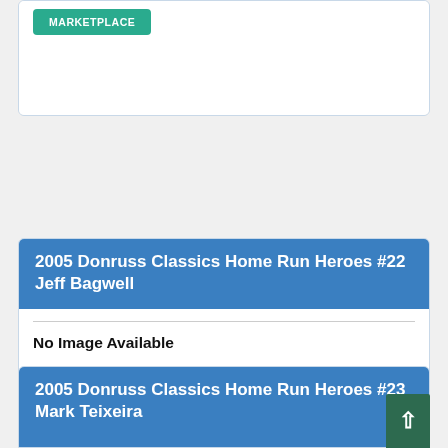[Figure (other): Top card partial view showing a MARKETPLACE button in teal/green]
2005 Donruss Classics Home Run Heroes #22 Jeff Bagwell
No Image Available
SEARCH EBAY
MARKETPLACE
2005 Donruss Classics Home Run Heroes #23 Mark Teixeira